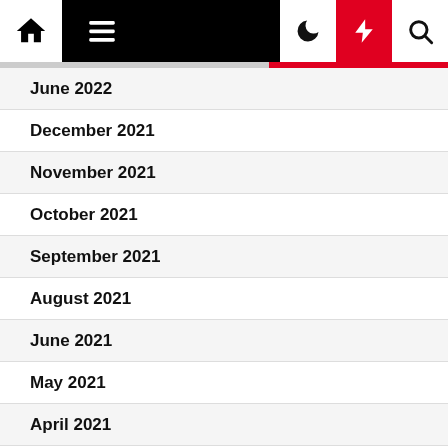Navigation bar with home, menu, dark mode, flash, and search icons
June 2022
December 2021
November 2021
October 2021
September 2021
August 2021
June 2021
May 2021
April 2021